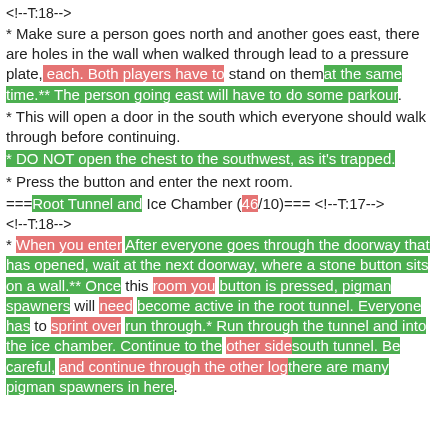<!--T:18-->
* Make sure a person goes north and another goes east, there are holes in the wall when walked through lead to a pressure plate, each. Both players have to stand on themat the same time.** The person going east will have to do some parkour.
* This will open a door in the south which everyone should walk through before continuing.
* DO NOT open the chest to the southwest, as it's trapped.
* Press the button and enter the next room.
===Root Tunnel and Ice Chamber (46/10)=== <!--T:17-->
<!--T:18-->
* When you enter After everyone goes through the doorway that has opened, wait at the next doorway, where a stone button sits on a wall.** Once this room you button is pressed, pigman spawners will need become active in the root tunnel. Everyone has to sprint over run through.* Run through the tunnel and into the ice chamber. Continue to the other sidesouth tunnel. Be careful, and continue through the other logthere are many pigman spawners in here.